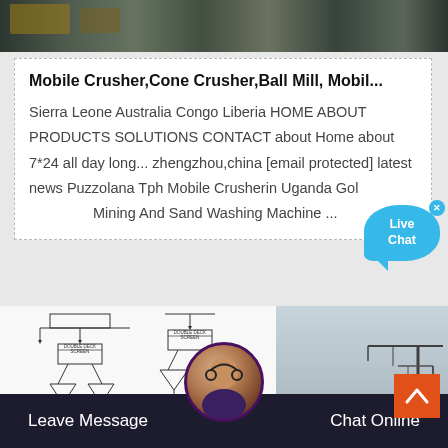[Figure (photo): Top strip showing mining/construction site with heavy equipment]
Mobile Crusher,Cone Crusher,Ball Mill, Mobil...
Sierra Leone Australia Congo Liberia HOME ABOUT PRODUCTS SOLUTIONS CONTACT about Home about 7*24 all day long... zhengzhou,china [email protected] latest news Puzzolana Tph Mobile Crusherin Uganda Gold Mining And Sand Washing Machine ...
[Figure (flowchart): Industrial crusher/screening process flow diagram showing double deck screens, cone crusher, impact crusher and conveyors]
[Figure (photo): Right side photo of construction/mining site with cranes in foggy conditions]
Leave Message    Chat Online